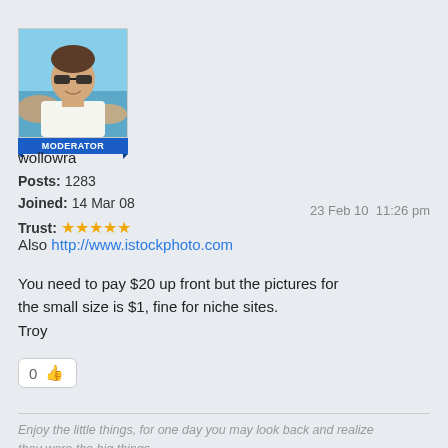[Figure (photo): Avatar photo of forum user wollowra, a man wearing sunglasses, with a blue sky and sea background, with a MODERATOR badge below]
wollowra
Posts: 1283
Joined: 14 Mar 08
Trust: ★★★★★
23 Feb 10  11:26 pm
Also http://www.istockphoto.com
You need to pay $20 up front but the pictures for the small size is $1, fine for niche sites.
Troy
0 👍
Enjoy the little things, for one day you may look back and realize
they were the big things.